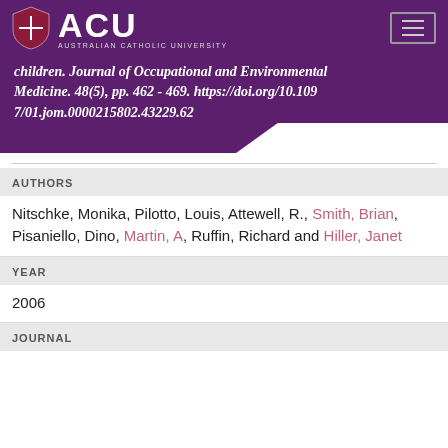[Figure (logo): ACU Australian Catholic University logo with shield icon on purple background]
children. Journal of Occupational and Environmental Medicine. 48(5), pp. 462 - 469. https://doi.org/10.1097/01.jom.0000215802.43229.62
AUTHORS
Nitschke, Monika, Pilotto, Louis, Attewell, R., Smith, Brian, Pisaniello, Dino, Martin, A, Ruffin, Richard and Hiller, Janet
YEAR
2006
JOURNAL